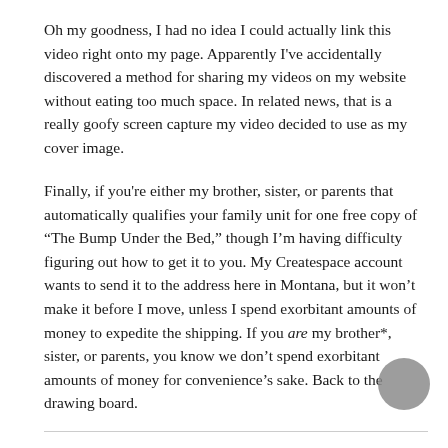Oh my goodness, I had no idea I could actually link this video right onto my page. Apparently I've accidentally discovered a method for sharing my videos on my website without eating too much space. In related news, that is a really goofy screen capture my video decided to use as my cover image.
Finally, if you're either my brother, sister, or parents that automatically qualifies your family unit for one free copy of “The Bump Under the Bed,” though I’m having difficulty figuring out how to get it to you. My Createspace account wants to send it to the address here in Montana, but it won’t make it before I move, unless I spend exorbitant amounts of money to expedite the shipping. If you are my brother*, sister, or parents, you know we don’t spend exorbitant amounts of money for convenience’s sake. Back to the drawing board.
*Insignificant note here: on my fifth editing read-through before posting, I finally noticed that I’d written “bother, sister, or parents” (italics added for emphasis), which is actually not a bad interpretation of that particular family role.
Tagged for sale, marketing video, MST3K, store, The Bump Under the Bed